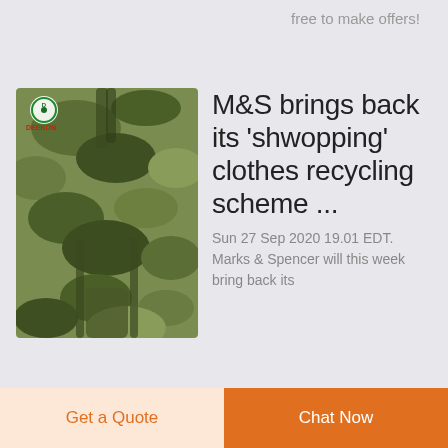free to make offers!
[Figure (photo): Camouflage military-style backpack with DEEKON logo/label at top-left]
M&S brings back its 'shwopping' clothes recycling scheme ...
Sun 27 Sep 2020 19.01 EDT. Marks & Spencer will this week bring back its
Get a Quote
Chat Now